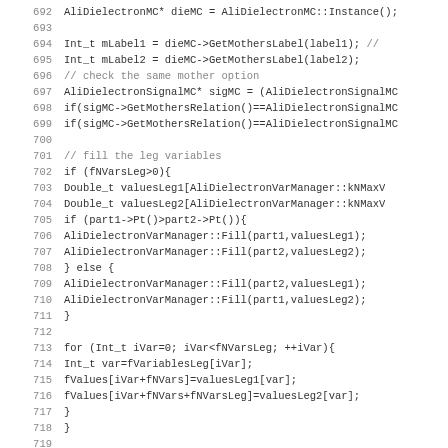Source code listing lines 692-723, C++ code for AliDielectron MC particle analysis
692    AliDielectronMC* dieMC = AliDielectronMC::Instance();
693
694    Int_t mLabel1 = dieMC->GetMothersLabel(label1);    //
695    Int_t mLabel2 = dieMC->GetMothersLabel(label2);
696    // check the same mother option
697    AliDielectronSignalMC* sigMC = (AliDielectronSignalMC
698    if(sigMC->GetMothersRelation()==AliDielectronSignalMC
699    if(sigMC->GetMothersRelation()==AliDielectronSignalMC
700
701    // fill the leg variables
702    if (fNVarsLeg>0){
703      Double_t valuesLeg1[AliDielectronVarManager::kNMaxV
704      Double_t valuesLeg2[AliDielectronVarManager::kNMaxV
705      if (part1->Pt()>part2->Pt()){
706        AliDielectronVarManager::Fill(part1,valuesLeg1);
707        AliDielectronVarManager::Fill(part2,valuesLeg2);
708      } else {
709        AliDielectronVarManager::Fill(part2,valuesLeg1);
710        AliDielectronVarManager::Fill(part1,valuesLeg2);
711      }
712
713      for (Int_t iVar=0; iVar<fNVarsLeg; ++iVar){
714        Int_t var=fVariablesLeg[iVar];
715        fValues[iVar+fNVars]=valuesLeg1[var];
716        fValues[iVar+fNVars+fNVarsLeg]=valuesLeg2[var];
717      }
718    }
719
720    Double_t valuesPair[AliDielectronVarManager::kNMaxVal
721    AliDielectronVarManager::Fill(dieMC->GetMCEvent(), va
722    AliDielectronVarManager::FillVarMCParticle2(part1,par
723